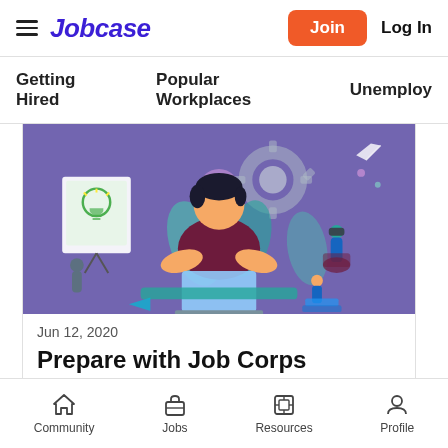Jobcase — Join | Log In
Getting Hired   Popular Workplaces   Unemploy
[Figure (illustration): A colorful illustration showing people working in an office setting, with a central figure at a laptop, a whiteboard with a lightbulb, gears, leaves, and a person looking through binoculars, on a purple background.]
Jun 12, 2020
Prepare with Job Corps
Community   Jobs   Resources   Profile